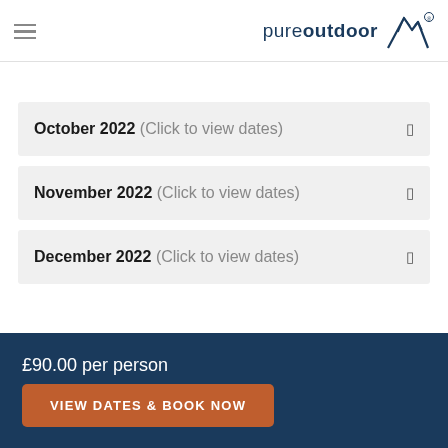[Figure (logo): Pure Outdoor logo with mountain icon and text 'pureoutdoor' with registered trademark symbol]
October 2022 (Click to view dates)
November 2022 (Click to view dates)
December 2022 (Click to view dates)
£90.00 per person
VIEW DATES & BOOK NOW